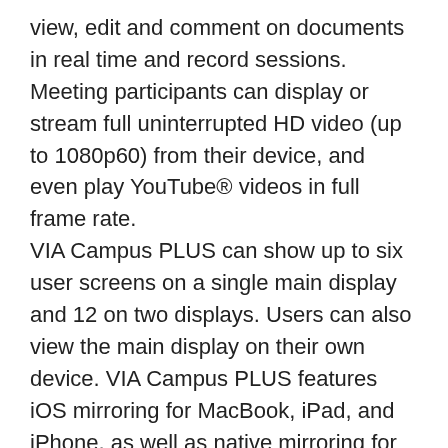view, edit and comment on documents in real time and record sessions. Meeting participants can display or stream full uninterrupted HD video (up to 1080p60) from their device, and even play YouTube® videos in full frame rate. VIA Campus PLUS can show up to six user screens on a single main display and 12 on two displays. Users can also view the main display on their own device. VIA Campus PLUS features iOS mirroring for MacBook, iPad, and iPhone, as well as native mirroring for Chromebook and Android (Lollipop OS 5.0 or newer). VIA Campus PLUS supports 3rd party conferencing and office apps, such as Microsoft Office®, Skype®, GoToMeeting®, Lync®, and WebEx®. The solution can handle any size collaboration or meeting space and is ideal for training venues and classrooms, the last to the next time calling features that would